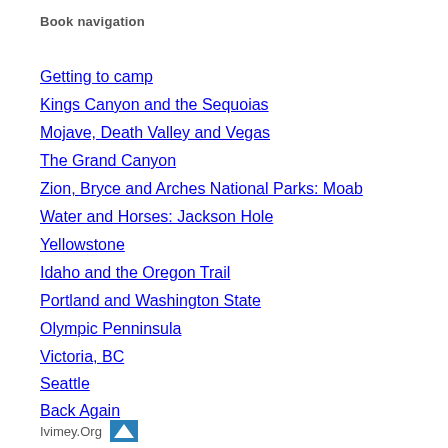Book navigation
Getting to camp
Kings Canyon and the Sequoias
Mojave, Death Valley and Vegas
The Grand Canyon
Zion, Bryce and Arches National Parks: Moab
Water and Horses: Jackson Hole
Yellowstone
Idaho and the Oregon Trail
Portland and Washington State
Olympic Penninsula
Victoria, BC
Seattle
Back Again
Ivimey.Org